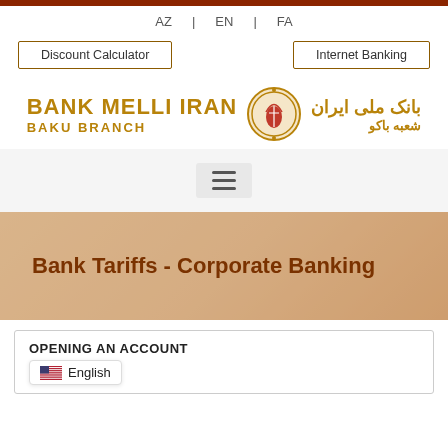AZ | EN | FA
Discount Calculator
Internet Banking
[Figure (logo): Bank Melli Iran Baku Branch logo with emblem and Persian text]
[Figure (other): Hamburger menu icon]
Bank Tariffs - Corporate Banking
OPENING AN ACCOUNT
English